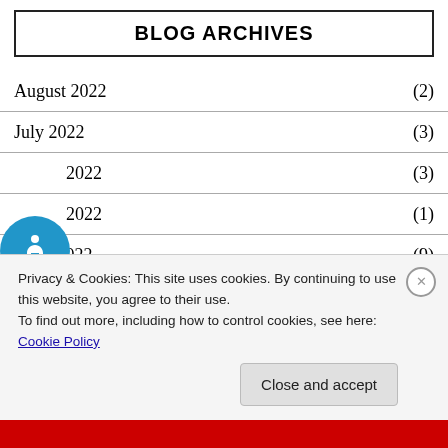BLOG ARCHIVES
August 2022 (2)
July 2022 (3)
2022 (3)
2022 (1)
April 2022 (9)
March 2022 (9)
Privacy & Cookies: This site uses cookies. By continuing to use this website, you agree to their use.
To find out more, including how to control cookies, see here:
Cookie Policy
Close and accept